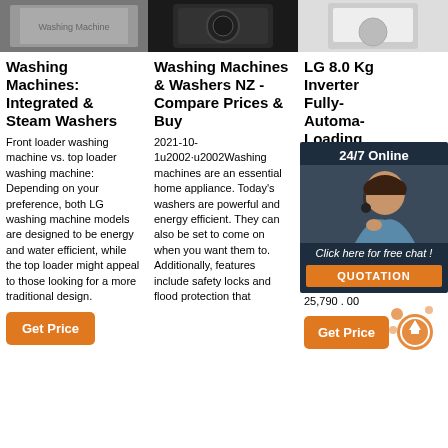[Figure (photo): Three product images at the top: left shows partial washing machine photo, center shows black washing machine appliance, right shows white/grey washing machine]
Washing Machines: Integrated & Steam Washers
Front loader washing machine vs. top loader washing machine: Depending on your preference, both LG washing machine models are designed to be energy and water efficient, while the top loader might appeal to those looking for a more traditional design.
Get Price
Washing Machines & Washers NZ - Compare Prices & Buy
2021-10-1u2002·u2002Washing machines are an essential home appliance. Today's washers are powerful and energy efficient. They can also be set to come on when you want them to. Additionally, features include safety locks and flood protection that
LG 8.0 Kg Inverter Fully-Automatic Top Loading Washing
LG 9.0 Kg Smart Inverter Fully-Automatic Top Loading Washing Machine (T90SJS Middle Free Jet Spray+) 4.3 out of 5 stars 467 ₹25,790.00 ₹ 25,790 . 00
Get Price
[Figure (infographic): 24/7 Online chat popup overlay with agent photo, 'Click here for free chat!' text and orange QUOTATION button]